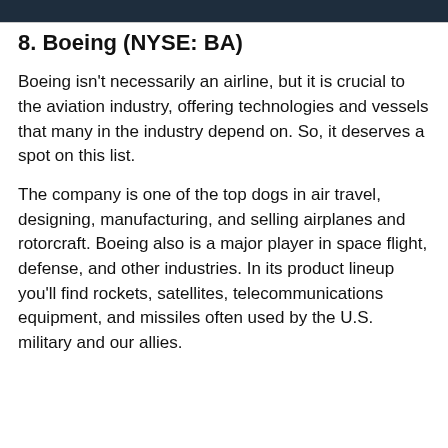8. Boeing (NYSE: BA)
Boeing isn't necessarily an airline, but it is crucial to the aviation industry, offering technologies and vessels that many in the industry depend on. So, it deserves a spot on this list.
The company is one of the top dogs in air travel, designing, manufacturing, and selling airplanes and rotorcraft. Boeing also is a major player in space flight, defense, and other industries. In its product lineup you'll find rockets, satellites, telecommunications equipment, and missiles often used by the U.S. military and our allies.